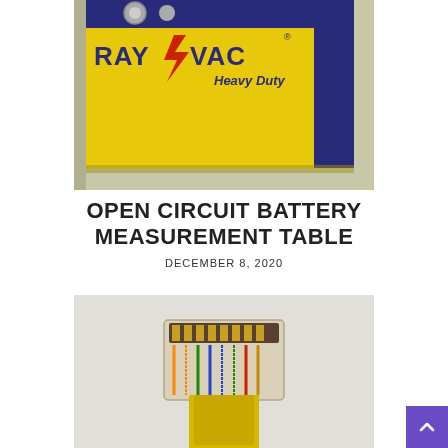[Figure (photo): Rayovac Heavy Duty 9-volt battery lying on a tan/beige surface, showing yellow and dark blue label with red lightning bolt logo]
OPEN CIRCUIT BATTERY MEASUREMENT TABLE
DECEMBER 8, 2020
[Figure (photo): RJ45 network connector/plug shown close-up on a light gray surface, showing colored wires inside the clear plastic housing]